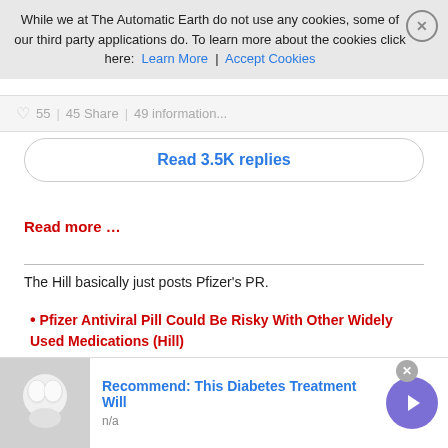While we at The Automatic Earth do not use any cookies, some of our third party applications do. To learn more about the cookies click here: Learn More | Accept Cookies
Read 3.5K replies
Read more …
The Hill basically just posts Pfizer's PR.
Pfizer Antiviral Pill Could Be Risky With Other Widely Used Medications (Hill)
The Food and Drug Administration (FDA) recently authorized two antiviral pills, one from Pfizer and one from Merck, making them the first at-home treatment for COVID-19 that has been touted as a game
Recommend: This Diabetes Treatment Will
n/a